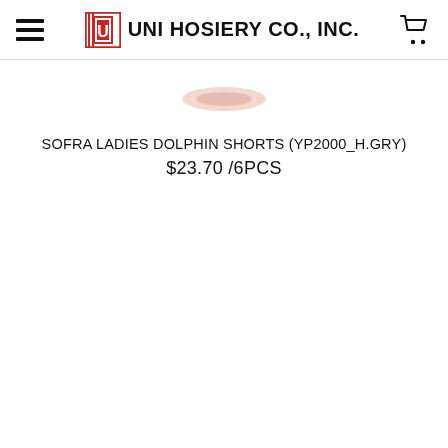UNI HOSIERY CO., INC.
[Figure (photo): Product image of Sofra Ladies Dolphin Shorts in heather grey, partially visible/blurred]
SOFRA LADIES DOLPHIN SHORTS (YP2000_H.GRY)
$23.70 /6PCS